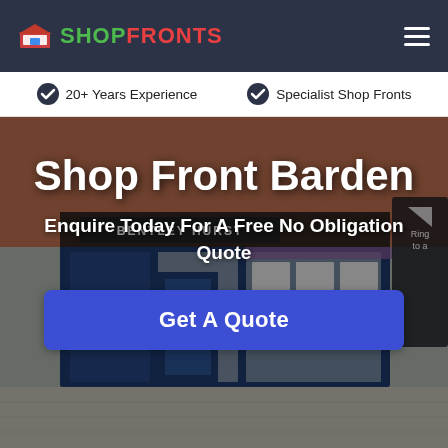SHOPFRONTS
20+ Years Experience
Specialist Shop Fronts
[Figure (photo): Photograph of a shop front with blue framing showing 'Bentley Hurst' signage, large glass windows with property listings displayed inside, set in a brick building]
Shop Front Barden
Enquire Today For A Free No Obligation Quote
Get A Quote